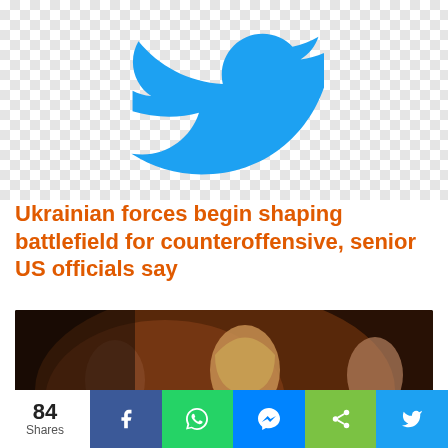[Figure (logo): Twitter bird logo (blue) on a checkered transparent background]
Ukrainian forces begin shaping battlefield for counteroffensive, senior US officials say
[Figure (photo): Photo of a crowd of people at an event, overlaid with a Twitter post card showing Hillary Clinton's Twitter handle @HillaryClinton]
84 Shares | Facebook | WhatsApp | Messenger | Share | Twitter